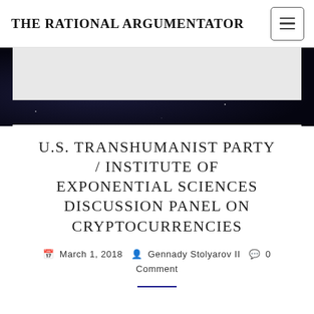THE RATIONAL ARGUMENTATOR
U.S. TRANSHUMANIST PARTY / INSTITUTE OF EXPONENTIAL SCIENCES DISCUSSION PANEL ON CRYPTOCURRENCIES
March 1, 2018  Gennady Stolyarov II  0 Comment